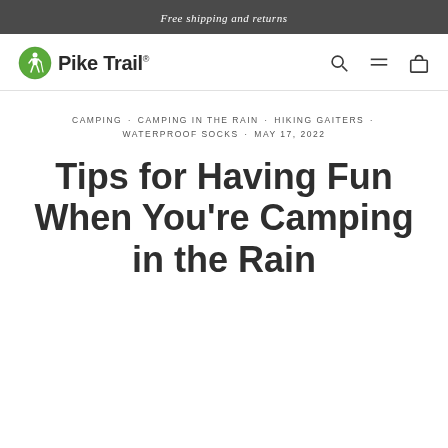Free shipping and returns
[Figure (logo): Pike Trail logo with green circular hiker icon and bold text 'Pike Trail®']
CAMPING · CAMPING IN THE RAIN · HIKING GAITERS · WATERPROOF SOCKS · MAY 17, 2022
Tips for Having Fun When You're Camping in the Rain